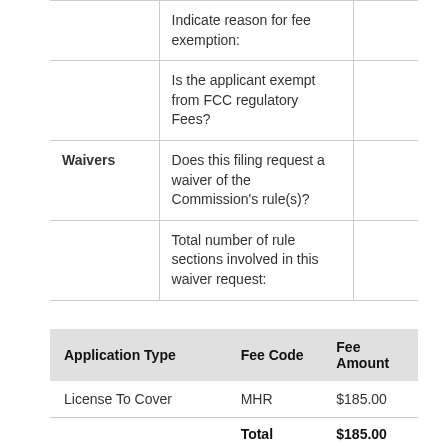|  | Question | Answer |
| --- | --- | --- |
|  | Indicate reason for fee exemption: |  |
|  | Is the applicant exempt from FCC regulatory Fees? |  |
| Waivers | Does this filing request a waiver of the Commission's rule(s)? |  |
|  | Total number of rule sections involved in this waiver request: |  |
| Application Type | Fee Code | Fee Amount |
| --- | --- | --- |
| License To Cover | MHR | $185.00 |
| Total |  | $185.00 |